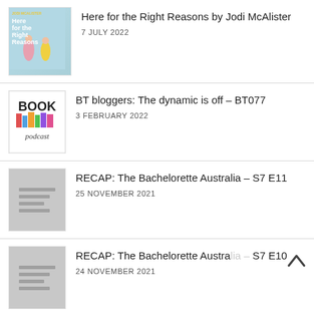Here for the Right Reasons by Jodi McAlister
7 JULY 2022
BT bloggers: The dynamic is off – BT077
3 FEBRUARY 2022
RECAP: The Bachelorette Australia – S7 E11
25 NOVEMBER 2021
RECAP: The Bachelorette Australia – S7 E10
24 NOVEMBER 2021
RECAP: The Bachelorette Australia